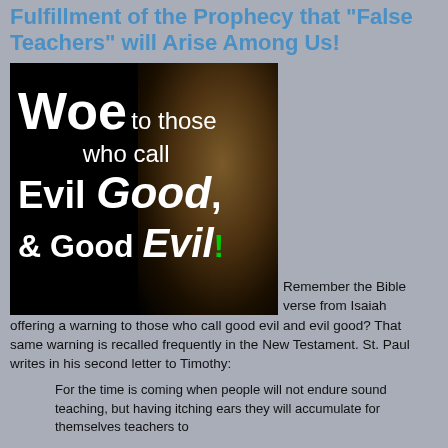Fulfillment of the Prophecy that "False Teachers" will Arise Among Us!
[Figure (illustration): Dark image of a man's face in shadow with white text overlay reading: 'Woe to those who call Evil Good, & Good Evil!' The word 'Good' is in large italic bold, 'Evil' at the end is in large italic bold with a green exclamation mark.]
Remember the Bible verse from Isaiah offering a warning to those who call good evil and evil good? That same warning is recalled frequently in the New Testament. St. Paul writes in his second letter to Timothy:
For the time is coming when people will not endure sound teaching, but having itching ears they will accumulate for themselves teachers to